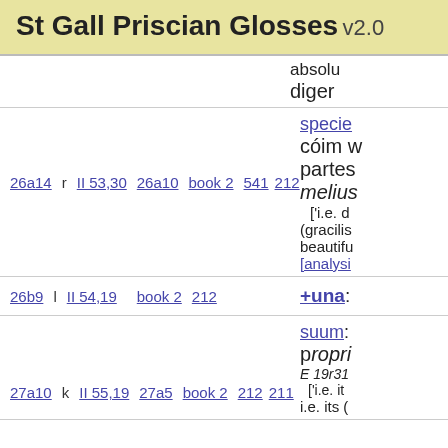St Gall Priscian Glosses v2.0
absol... dligen...
| ref1 | type | ref2 | ref3 | book | pages | gloss |
| --- | --- | --- | --- | --- | --- | --- |
| 26a14 | r | II 53,30 | 26a10 | book 2 | 541 212 | species... cóim w... partes... melius... ['i.e. d... (gracilis... beautifu... [analysi... |
| 26b9 | l | II 54,19 |  | book 2 | 212 | +una: |
| 27a10 | k | II 55,19 | 27a5 | book 2 | 212 211 | suum:... propri... E 19r31... ['i.e. it... i.e. its (... |